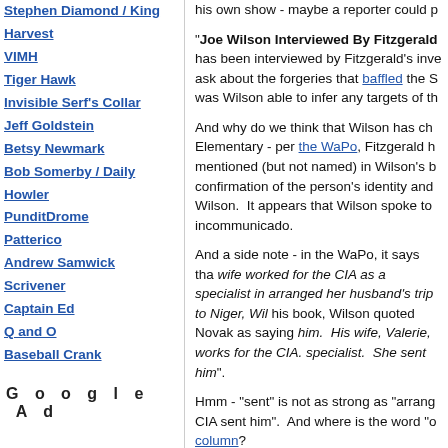Stephen Diamond / King Harvest
VIMH
Tiger Hawk
Invisible Serf's Collar
Jeff Goldstein
Betsy Newmark
Bob Somerby / Daily Howler
PunditDrome
Patterico
Andrew Samwick
Scrivener
Captain Ed
Q and O
Baseball Crank
Google Ad
his own show - maybe a reporter could p
"Joe Wilson Interviewed By Fitzgerald has been interviewed by Fitzgerald's inve ask about the forgeries that baffled the S was Wilson able to infer any targets of th
And why do we think that Wilson has ch Elementary - per the WaPo, Fitzgerald h mentioned (but not named) in Wilson's b confirmation of the person's identity and Wilson. It appears that Wilson spoke to incommunicado.
And a side note - in the WaPo, it says tha wife worked for the CIA as a specialist in arranged her husband's trip to Niger, Wil his book, Wilson quoted Novak as saying him. His wife, Valerie, works for the CIA. specialist. She sent him".
Hmm - "sent" is not as strong as "arrang CIA sent him". And where is the word "o column?
but referencing for Mr Wilson, if ...